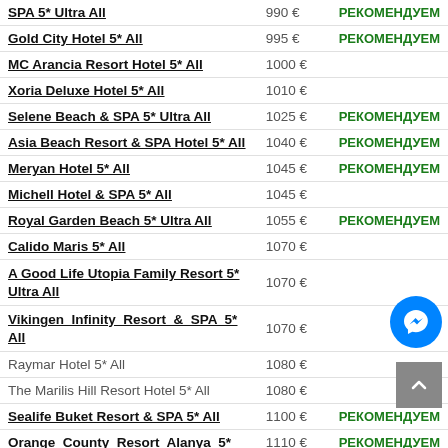| Hotel | Price | Note |
| --- | --- | --- |
| SPA 5* Ultra All | 990 € | РЕКОМЕНДУЕМ |
| Gold City Hotel 5* All | 995 € | РЕКОМЕНДУЕМ |
| MC Arancia Resort Hotel 5* All | 1000 € |  |
| Xoria Deluxe Hotel 5* All | 1010 € |  |
| Selene Beach & SPA 5* Ultra All | 1025 € | РЕКОМЕНДУЕМ |
| Asia Beach Resort & SPA Hotel 5* All | 1040 € | РЕКОМЕНДУЕМ |
| Meryan Hotel 5* All | 1045 € | РЕКОМЕНДУЕМ |
| Michell Hotel & SPA 5* All | 1045 € |  |
| Royal Garden Beach 5* Ultra All | 1055 € | РЕКОМЕНДУЕМ |
| Calido Maris 5* All | 1070 € |  |
| A Good Life Utopia Family Resort 5* Ultra All | 1070 € |  |
| Vikingen Infinity Resort & SPA 5* All | 1070 € |  |
| Raymar Hotel 5* All | 1080 € |  |
| The Marilis Hill Resort Hotel 5* All | 1080 € |  |
| Sealife Buket Resort & SPA 5* All | 1100 € | РЕКОМЕНДУЕМ |
| Orange County Resort Alanya 5* | 1110 € | РЕКОМЕНДУЕМ |